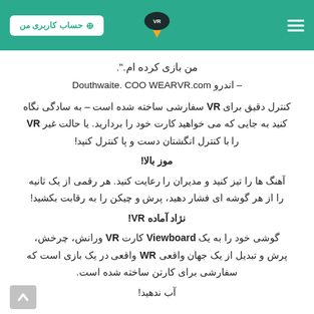حساب کاربری من | [logo] | [hamburger menu]
من بازی کرده ام.".
– اندرو Douthwaite. COO WEARVR.com
کنترل دقیق برای VR سفارشی ساخته شده است – به سادگی نگاه کنید به جایی که می خواهید کارت خود را بردارید. یا حالت غیر VR را با کنترل انگشتان دست و پا کنترل کنید!
موز بالا!
آهنگ ها را تیز کنید و مدیران را رعایت کنید. هر رقمی از یک ثانیه را از هر گوشه ای فشار دهید، پرش و چیکن را به رقابت بکشید!
نژاد آماده VR!
گوشی خود را به یک Viewboard کارت VR ورانش، چرخش، پرش و تبدیل از یک جهان واقعی WR واقعی در یک بازی است که سفارشی برای کارتن ساخته شده است.
آب ندهید!